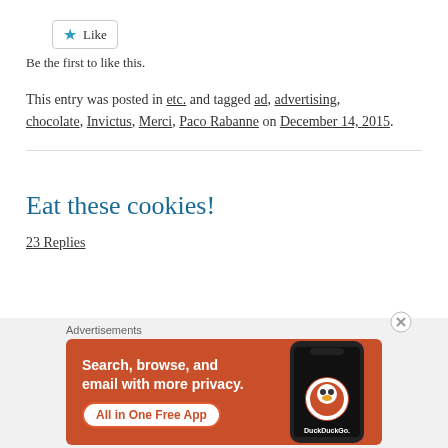[Figure (other): Like button with star icon]
Be the first to like this.
This entry was posted in etc. and tagged ad, advertising, chocolate, Invictus, Merci, Paco Rabanne on December 14, 2015.
Eat these cookies!
23 Replies
[Figure (other): DuckDuckGo advertisement banner: Search, browse, and email with more privacy. All in One Free App. Shows a phone with DuckDuckGo logo.]